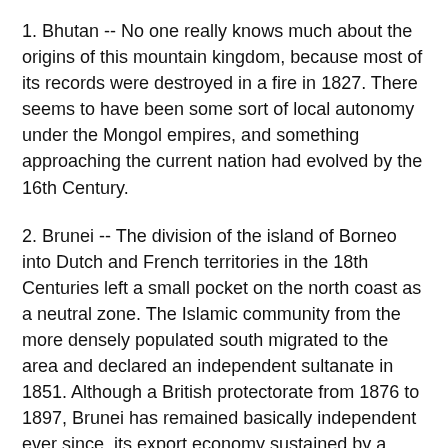1. Bhutan -- No one really knows much about the origins of this mountain kingdom, because most of its records were destroyed in a fire in 1827. There seems to have been some sort of local autonomy under the Mongol empires, and something approaching the current nation had evolved by the 16th Century.
2. Brunei -- The division of the island of Borneo into Dutch and French territories in the 18th Centuries left a small pocket on the north coast as a neutral zone. The Islamic community from the more densely populated south migrated to the area and declared an independent sultanate in 1851. Although a British protectorate from 1876 to 1897, Brunei has remained basically independent ever since, its export economy sustained by a territory that is almost entirely comprised of highly fertile agricultural land.
3. Hong Kong -- A former British trading outpost, this small island country became independent in 1958. Special diplomatic relations with the People's Republic of China, its neighbor to the north, has allowed it to thrive first as an industrial nation -- at one time, almost everything was "made